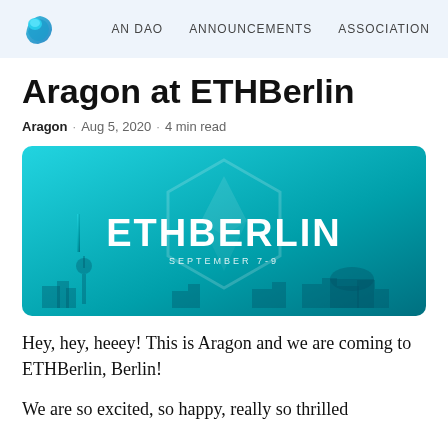AN DAO   ANNOUNCEMENTS   ASSOCIATION
Aragon at ETHBerlin
Aragon · Aug 5, 2020 · 4 min read
[Figure (illustration): ETHBerlin banner image with teal gradient background showing ETHBERLIN text in white and 'SEPTEMBER 7-9' subtitle, with Berlin city skyline silhouette at the bottom]
Hey, hey, heeey! This is Aragon and we are coming to ETHBerlin, Berlin!
We are so excited, so happy, really so thrilled